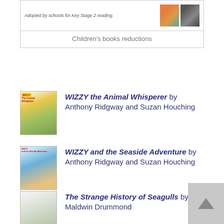[Figure (other): Top section with text 'Adopted by schools for Key Stage 2 reading.' and two small book cover images]
Children's books reductions
WIZZY the Animal Whisperer by Anthony Ridgway and Suzan Houching
WIZZY and the Seaside Adventure by Anthony Ridgway and Suzan Houching
The Strange History of Seagulls by Maldwin Drummond